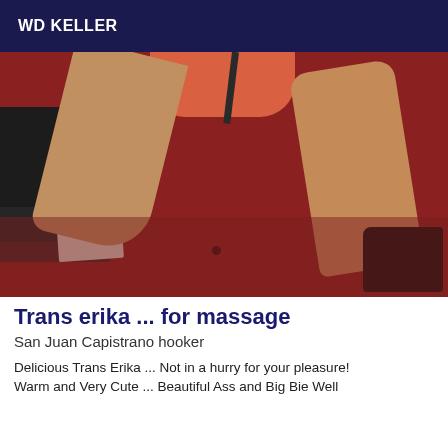WD KELLER
[Figure (photo): Photo of a person lying on a dark red surface, showing legs with high heels, with dark fabric visible on the left side.]
Trans erika ... for massage
San Juan Capistrano hooker
Delicious Trans Erika ... Not in a hurry for your pleasure! Warm and Very Cute ... Beautiful Ass and Big Bie Well